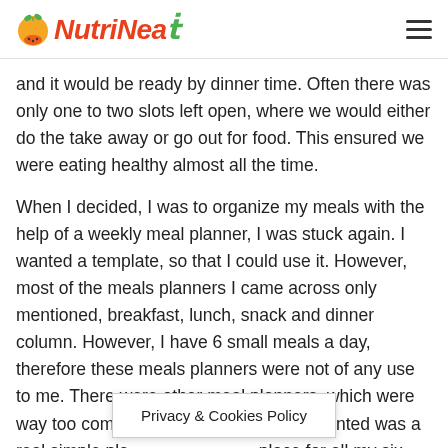NutriNeat
and it would be ready by dinner time. Often there was only one to two slots left open, where we would either do the take away or go out for food. This ensured we were eating healthy almost all the time.
When I decided, I was to organize my meals with the help of a weekly meal planner, I was stuck again. I wanted a template, so that I could use it. However, most of the meals planners I came across only mentioned, breakfast, lunch, snack and dinner column. However, I have 6 small meals a day, therefore these meals planners were not of any use to me. There were other meal planners, which were way too complicated for my taste. All I wanted was a real simple pla place for all my six
Privacy & Cookies Policy